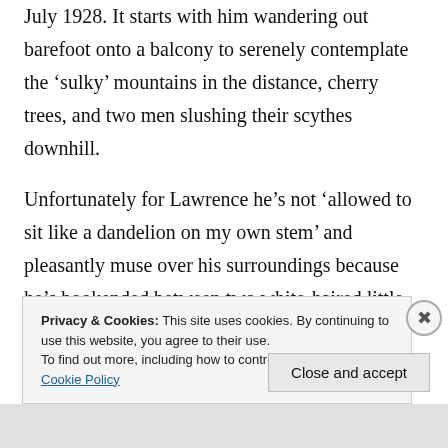July 1928. It starts with him wandering out barefoot onto a balcony to serenely contemplate the 'sulky' mountains in the distance, cherry trees, and two men slushing their scythes downhill.
Unfortunately for Lawrence he's not 'allowed to sit like a dandelion on my own stem' and pleasantly muse over his surroundings because he's bookended between two white-haired little ladies
Privacy & Cookies: This site uses cookies. By continuing to use this website, you agree to their use.
To find out more, including how to control cookies, see here: Cookie Policy
Close and accept